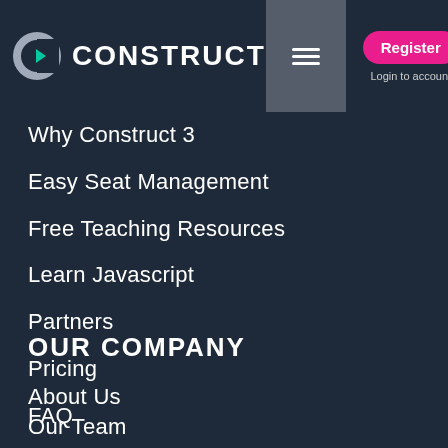Construct — Register | Login to account
Why Construct 3
Easy Seat Management
Free Teaching Resources
Learn Javascript
Partners
Pricing
FAQ
OUR COMPANY
About Us
Our Team
Press Kit